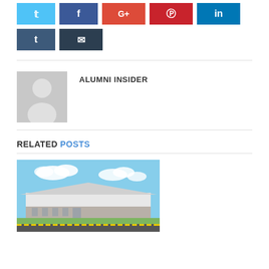[Figure (other): Row of social media sharing buttons: Twitter (light blue), Facebook (dark blue), Google+ (red-orange), Pinterest (red), LinkedIn (dark blue), Tumblr (dark blue-gray), Email (dark gray)]
ALUMNI INSIDER
RELATED POSTS
[Figure (photo): Photograph of a large industrial or institutional building with a white metal roof, green lawn, road in foreground, blue sky with clouds in background]